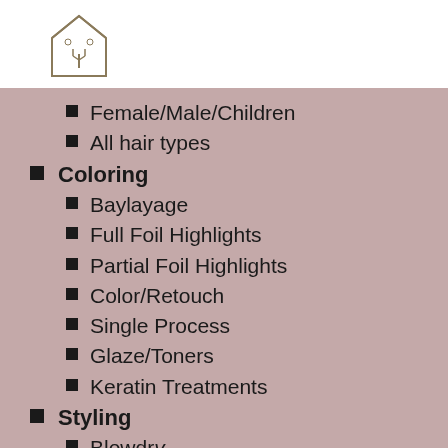[Figure (logo): Decorative house/cactus logo icon in outline style]
Female/Male/Children
All hair types
Coloring
Baylayage
Full Foil Highlights
Partial Foil Highlights
Color/Retouch
Single Process
Glaze/Toners
Keratin Treatments
Styling
Blowdry